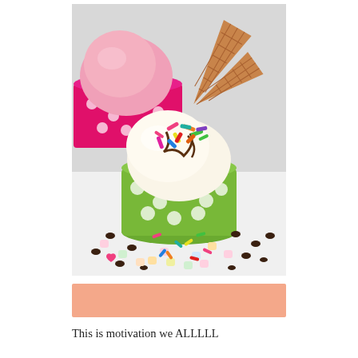[Figure (photo): A cup of vanilla ice cream with colorful sprinkles and chocolate sauce in a green polka dot cup, surrounded by mini marshmallows, chocolate chips, and sprinkles. A pink strawberry ice cream in a pink polka dot cup and waffle cones are visible in the background.]
[Figure (other): A salmon/peach colored horizontal bar or banner rectangle.]
This is motivation we ALLLLL